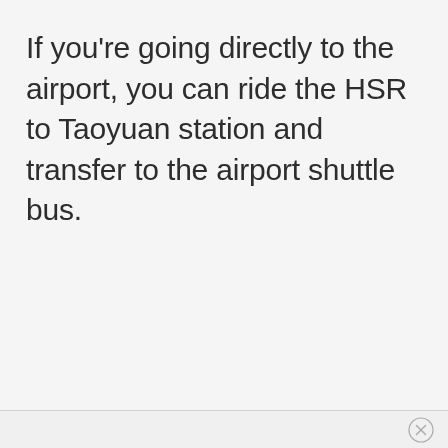If you're going directly to the airport, you can ride the HSR to Taoyuan station and transfer to the airport shuttle bus.